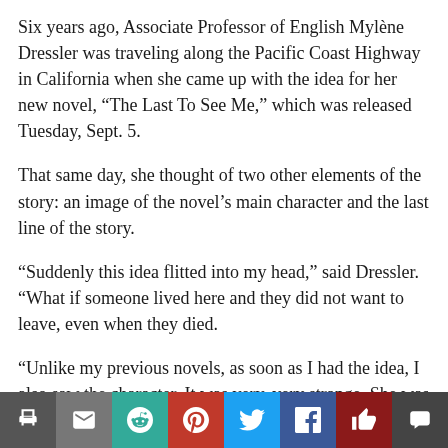Six years ago, Associate Professor of English Mylène Dressler was traveling along the Pacific Coast Highway in California when she came up with the idea for her new novel, “The Last To See Me,” which was released Tuesday, Sept. 5.
That same day, she thought of two other elements of the story: an image of the novel’s main character and the last line of the story.
“Suddenly this idea flitted into my head,” said Dressler. “What if someone lived here and they did not want to leave, even when they died.
“Unlike my previous novels, as soon as I had the idea, I also saw the character. It was very, very strange. She was almost fully embodied … she was in front of me and I could see her. I had a sense of who she was and what era she was speaking to me from and … I also almost immediately heard in my head the last line of the story.”
The...
[Figure (infographic): Social sharing toolbar with 8 buttons: print (grey), email (grey), reddit (teal), pinterest (red), twitter (blue), facebook (dark blue), like/thumbs-up (dark red), comment (dark grey)]